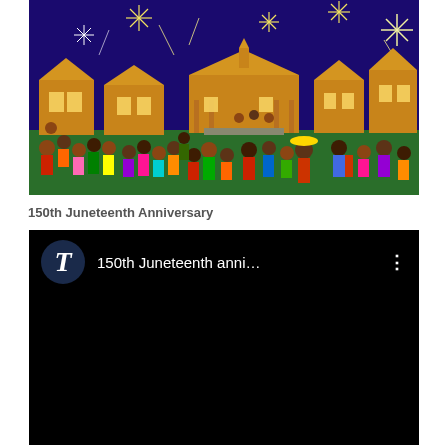[Figure (illustration): Colorful painting depicting a Juneteenth celebration scene with crowds of people, illuminated houses, and fireworks against a deep blue night sky.]
150th Juneteenth Anniversary
[Figure (screenshot): Screenshot of a video player interface with black background showing a video titled '150th Juneteenth anni...' with a circular navy icon bearing a white italic T, and three-dot menu icon.]